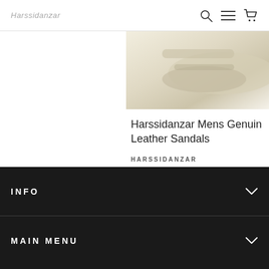Harssidanzar
[Figure (photo): Partial product image of Harssidanzar leather sandal in cream/off-white color, partially cropped at top and left edge]
Harssidanzar Mens Genuine Leather Sandals
HARSSIDANZAR
$69.99
[Figure (other): Four color swatches: black, dark red, tan/brown, and yellow]
INFO
MAIN MENU